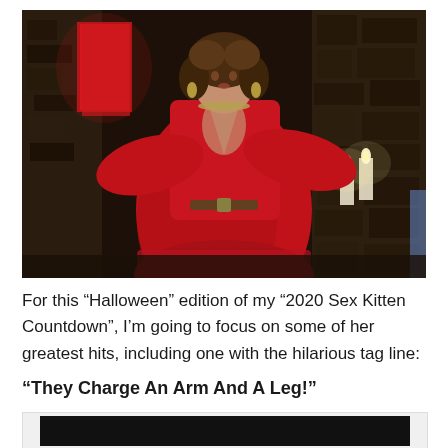[Figure (photo): A woman in a red robe/gown standing in a dark stone temple-like setting with carved walls and candles. She wears a necklace and has curly hair.]
For this “Halloween” edition of my “2020 Sex Kitten Countdown”, I’m going to focus on some of her greatest hits, including one with the hilarious tag line:
“They Charge An Arm And A Leg!”
[Figure (screenshot): A partially visible image showing a dark/black background, bottom portion cut off.]